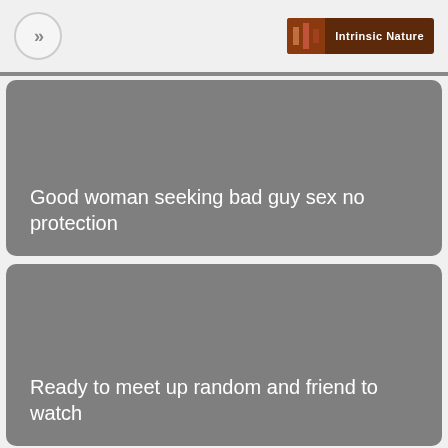>> | Intrinsic Nature
Good woman seeking bad guy sex no protection
Ready to meet up random and friend to watch